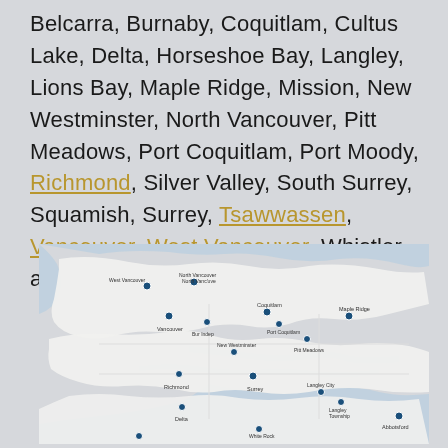Belcarra, Burnaby, Coquitlam, Cultus Lake, Delta, Horseshoe Bay, Langley, Lions Bay, Maple Ridge, Mission, New Westminster, North Vancouver, Pitt Meadows, Port Coquitlam, Port Moody, Richmond, Silver Valley, South Surrey, Squamish, Surrey, Tsawwassen, Vancouver, West Vancouver, Whistler, and White Rock.
[Figure (map): Map of Metro Vancouver and surrounding municipalities showing location pins for various cities including Vancouver, Burnaby, Coquitlam, Surrey, Langley, Abbotsford, White Rock, Maple Ridge, New Westminster, Delta, and others. The map features white land areas with light blue water bodies and blue location pins.]